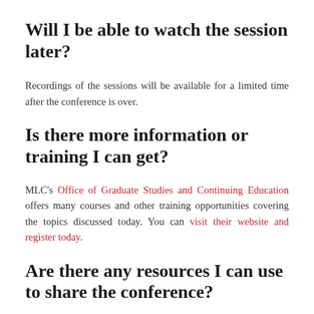Will I be able to watch the session later?
Recordings of the sessions will be available for a limited time after the conference is over.
Is there more information or training I can get?
MLC's Office of Graduate Studies and Continuing Education offers many courses and other training opportunities covering the topics discussed today. You can visit their website and register today.
Are there any resources I can use to share the conference?
We have a social banner, square conference image, and the